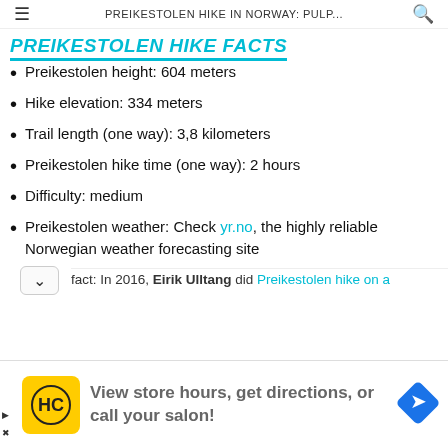PREIKESTOLEN HIKE IN NORWAY: PULP...
PREIKESTOLEN HIKE FACTS
Preikestolen height: 604 meters
Hike elevation: 334 meters
Trail length (one way): 3,8 kilometers
Preikestolen hike time (one way): 2 hours
Difficulty: medium
Preikestolen weather: Check yr.no, the highly reliable Norwegian weather forecasting site
fact: In 2016, Eirik Ulltang did Preikestolen hike on a
[Figure (screenshot): Advertisement banner: View store hours, get directions, or call your salon!]